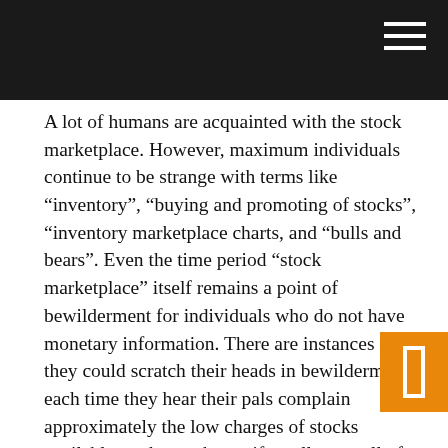A lot of humans are acquainted with the stock marketplace. However, maximum individuals continue to be strange with terms like “inventory”, “buying and promoting of stocks”, “inventory marketplace charts, and “bulls and bears”. Even the time period “stock marketplace” itself remains a point of bewilderment for individuals who do not have monetary information. There are instances after they could scratch their heads in bewilderment each time they hear their pals complain approximately the low charges of stocks available on the market or if a colleague all of sudden receives a large providence from his inventory market investments. What the general public are aware of is that the buying and selling at the stock marketplace can cause booming bankrupt companies if these agencies have performed the “stock marketplace sport” successfully. Simply placed, shares are representations of the